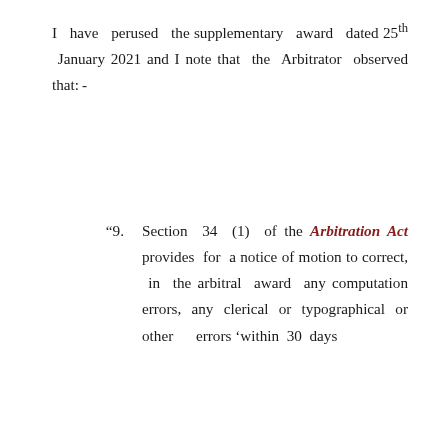I have perused the supplementary award dated 25th January 2021 and I note that the Arbitrator observed that:-
"9. Section 34 (1) of the Arbitration Act provides for a notice of motion to correct, in the arbitral award any computation errors, any clerical or typographical or other errors 'within 30 days